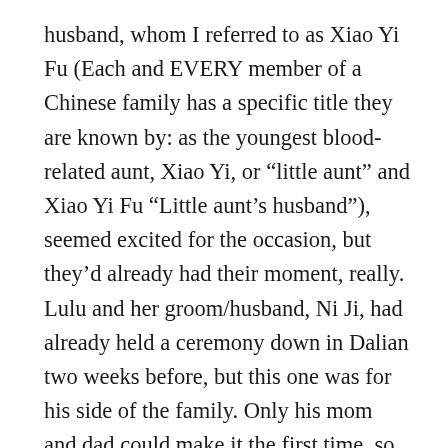husband, whom I referred to as Xiao Yi Fu (Each and EVERY member of a Chinese family has a specific title they are known by: as the youngest blood-related aunt, Xiao Yi, or “little aunt” and Xiao Yi Fu “Little aunt’s husband”), seemed excited for the occasion, but they’d already had their moment, really. Lulu and her groom/husband, Ni Ji, had already held a ceremony down in Dalian two weeks before, but this one was for his side of the family. Only his mom and dad could make it the first time, so Lulu and Ni Ji got two wedding ceremonies. The big difference was that this one would be a traditional Chinese wedding, something I’d read about, but never participated in. When we got married, Xiao Ming and I only had the Gan Xie dinner with the family where a few toasts were made, red